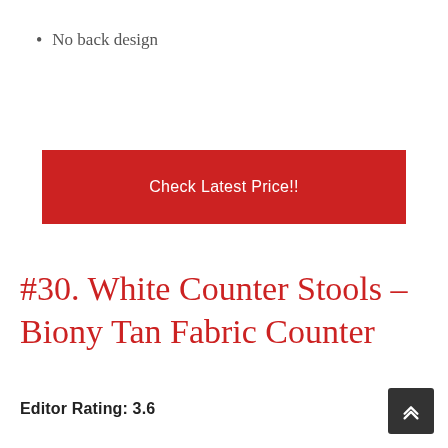No back design
Check Latest Price!!
#30. White Counter Stools – Biony Tan Fabric Counter
Editor Rating: 3.6